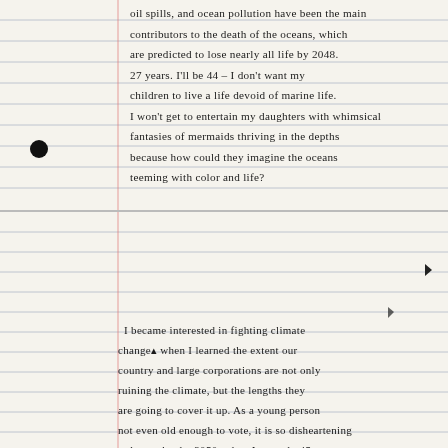oil spills, and ocean pollution have been the main contributors to the death of the oceans, which are predicted to lose nearly all life by 2048. 27 years. I'll be 44 – I don't want my children to live a life devoid of marine life. I won't get to entertain my daughters with whimsical fantasies of mermaids thriving in the depths because how could they imagine the oceans teeming with color and life?
I became interested in fighting climate change when I learned the extent our country and large corporations are not only ruining the climate, but the lengths they are going to cover it up. As a young person not even old enough to vote, it is so disheartening to know that by 2050, when I am only 45 years old– I will have to mask up my kids whenever we go outside because the smog will be too thick to breathe. When hearing this information, I think the only logical thing to do is fight as hard as possible to prevent it, which is what I'm attempting.